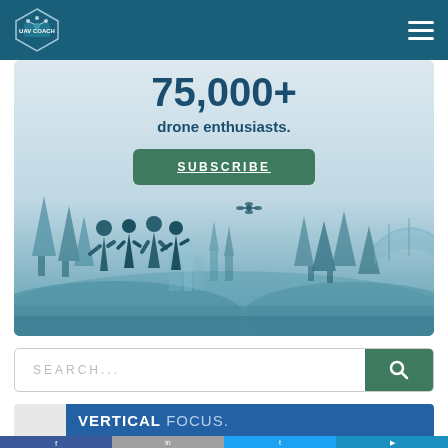UAV Coach
[Figure (illustration): Hero banner with silhouette scene of people watching a drone fly over a cityscape with trees and bridge. Text overlay shows 75,000+ drone enthusiasts and Subscribe button.]
75,000+
drone enthusiasts.
SUBSCRIBE
SEARCH...
VERTICAL FOCUS.
Social media icons: Facebook, LinkedIn, Twitter, YouTube